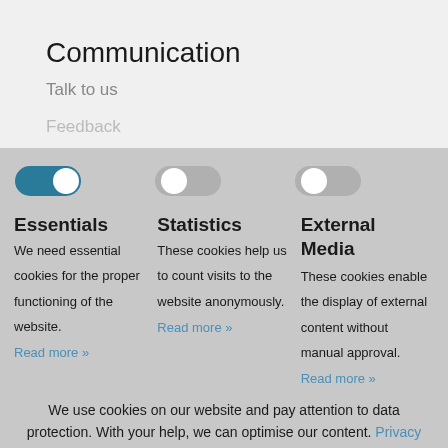Communication
Talk to us
Feedback
[Figure (screenshot): Cookie consent overlay with three toggle switches (Essentials on, Statistics off, External Media off) and cookie descriptions, privacy policy link, and two buttons: Activate selection and Activate all]
We use cookies on our website and pay attention to data protection. With your help, we can optimise our content. Privacy Policy - Imprint